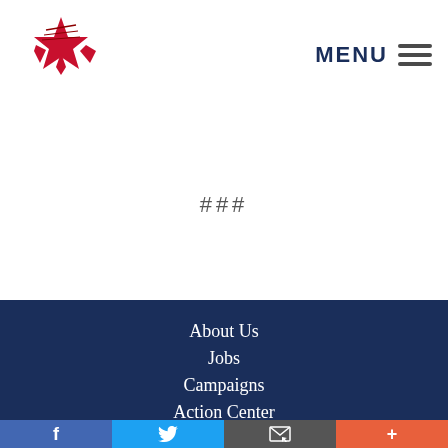[Figure (logo): Star-shaped logo with red/crimson color and stylized design, organization logo in top left corner]
MENU
###
About Us
Jobs
Campaigns
Action Center
Blog
Facebook | Twitter | Email | Plus